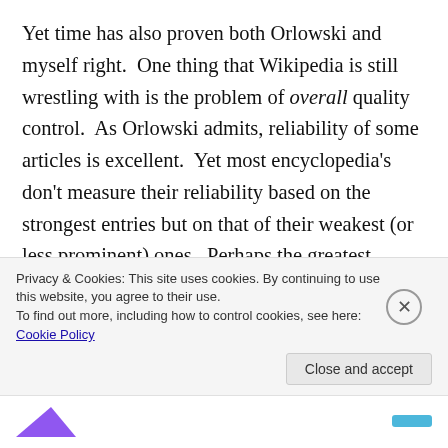Yet time has also proven both Orlowski and myself right.  One thing that Wikipedia is still wrestling with is the problem of overall quality control.  As Orlowski admits, reliability of some articles is excellent.  Yet most encyclopedia's don't measure their reliability based on the strongest entries but on that of their weakest (or less prominent) ones.  Perhaps the greatest challenge faced by Wikipedia is not reliability but readability.  Orlowski notes that " Even when a Wikipedia entry is 100 per cent factually correct, and those facts have been carefully chosen, it all too often reads as if it has
Privacy & Cookies: This site uses cookies. By continuing to use this website, you agree to their use.
To find out more, including how to control cookies, see here: Cookie Policy
Close and accept